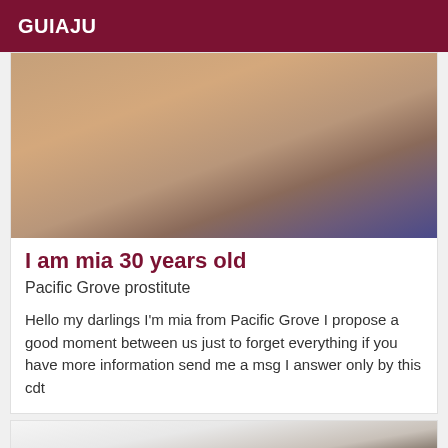GUIAJU
[Figure (photo): Cropped photo of a person wearing dark/navy blue clothing, kneeling on a tiled floor]
I am mia 30 years old
Pacific Grove prostitute
Hello my darlings I'm mia from Pacific Grove I propose a good moment between us just to forget everything if you have more information send me a msg I answer only by this cdt
[Figure (photo): Cropped photo showing the back of a person's head with dark short hair, wearing a white top]